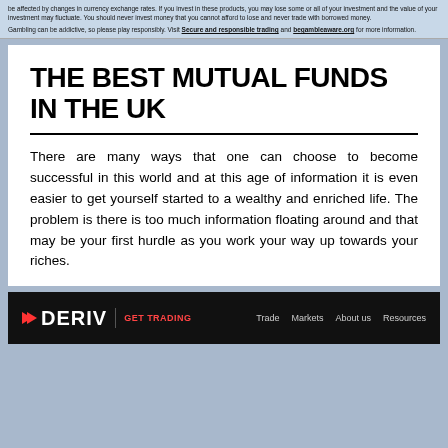be affected by changes in currency exchange rates. If you invest in these products, you may lose some or all of your investment and the value of your investment may fluctuate. You should never invest money that you cannot afford to lose and never trade with borrowed money.

Gambling can be addictive, so please play responsibly. Visit Secure and responsible trading and begambleaware.org for more information.
THE BEST MUTUAL FUNDS IN THE UK
There are many ways that one can choose to become successful in this world and at this age of information it is even easier to get yourself started to a wealthy and enriched life. The problem is there is too much information floating around and that may be your first hurdle as you work your way up towards your riches.
[Figure (logo): Deriv GET TRADING logo with navigation links: Trade, Markets, About us, Resources on black background bar]